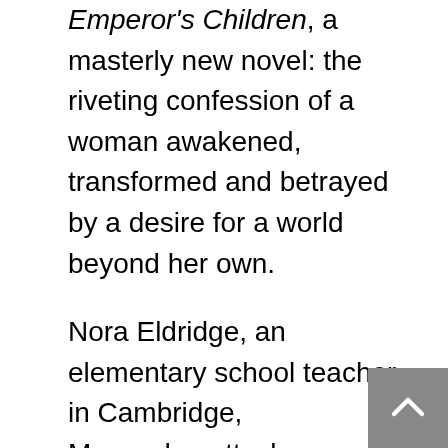Emperor's Children, a masterly new novel: the riveting confession of a woman awakened, transformed and betrayed by a desire for a world beyond her own.
Nora Eldridge, an elementary school teacher in Cambridge, Massachusetts, long ago compromised her dream to be a successful artist, mother and lover. She has instead become the “woman upstairs,” a reliable friend and neighbor always on the fringe of others’ achievements. Then into her life arrives the glamorous and cosmopolitan Shahids—her new student Reza Shahid, a child who enchants as if from a fairy tale, and his parents: Skandar, a dashing Lebanese professor who has come to Boston for a fellowship at Harvard, and Sirena, an